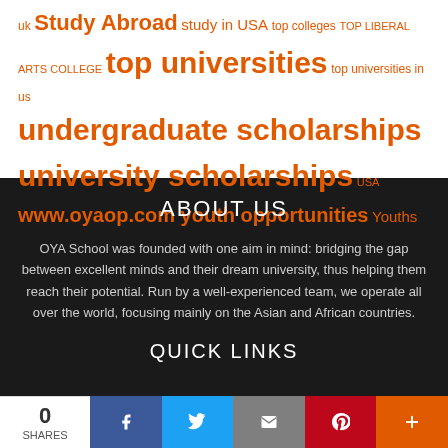uk Study Abroad study in USA top colleges top liberal arts college top universities top universities in us undergraduate scholarships university scholarships USA www.oyaop.com youth opportunities Youths
ABOUT US
OYA School was founded with one aim in mind: bridging the gap between excellent minds and their dream university, thus helping them reach their potential. Run by a well-experienced team, we operate all over the world, focusing mainly on the Asian and African countries.
QUICK LINKS
0 SHARES | Facebook | Twitter | Email | Pinterest | More